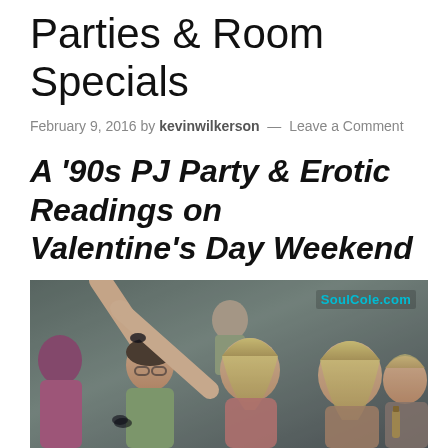Parties & Room Specials
February 9, 2016 by kevinwilkerson — Leave a Comment
A '90s PJ Party & Erotic Readings on Valentine's Day Weekend
[Figure (photo): Photo of people partying, multiple blonde women and men dancing at a club or party event. Watermark: SoulCole.com]